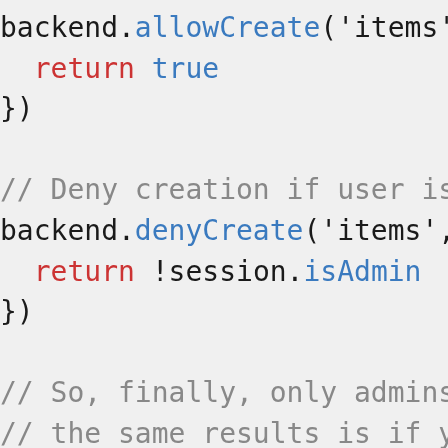[Figure (screenshot): Syntax-highlighted code snippet showing JavaScript backend permission rules using allowCreate and denyCreate methods, with comments explaining the logic.]